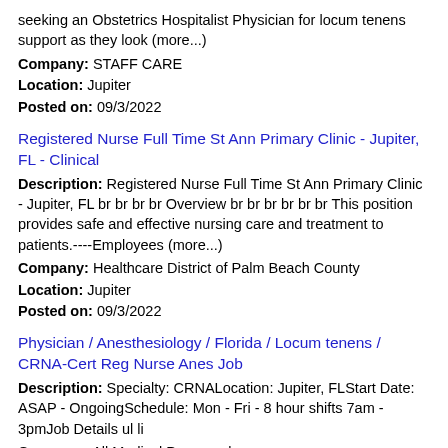seeking an Obstetrics Hospitalist Physician for locum tenens support as they look (more...)
Company: STAFF CARE
Location: Jupiter
Posted on: 09/3/2022
Registered Nurse Full Time St Ann Primary Clinic - Jupiter, FL - Clinical
Description: Registered Nurse Full Time St Ann Primary Clinic - Jupiter, FL br br br br Overview br br br br br br This position provides safe and effective nursing care and treatment to patients.----Employees (more...)
Company: Healthcare District of Palm Beach County
Location: Jupiter
Posted on: 09/3/2022
Physician / Anesthesiology / Florida / Locum tenens / CRNA-Cert Reg Nurse Anes Job
Description: Specialty: CRNALocation: Jupiter, FLStart Date: ASAP - OngoingSchedule: Mon - Fri - 8 hour shifts 7am - 3pmJob Details ul li
Company: All Medical Personnel
Location: Jupiter
Posted on: 09/3/2022